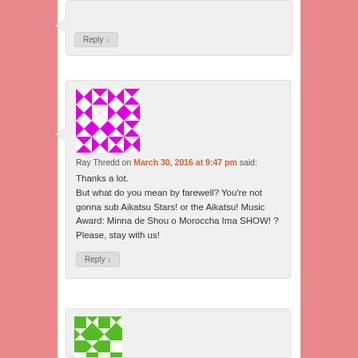[Figure (screenshot): Blog comment section with pink floral background. Shows two comment boxes. The main comment is from Ray Thredd on March 30, 2016 at 9:47 pm with a magenta/pink geometric avatar. Comment text: 'Thanks a lot. But what do you mean by farewell? You're not gonna sub Aikatsu Stars! or the Aikatsu! Music Award: Minna de Shou o Morocha Ima SHOW! ? Please, stay with us!' with a Reply button. A partial third comment with a green geometric avatar is visible at bottom.]